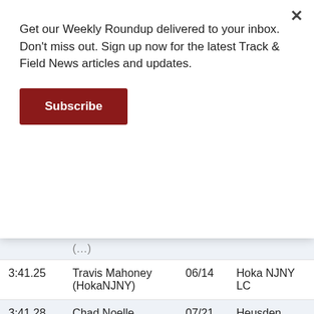Get our Weekly Roundup delivered to your inbox. Don't miss out. Sign up now for the latest Track & Field News articles and updates.
Subscribe
| Time | Name | Date | Meet |
| --- | --- | --- | --- |
|  | (…) |  |  |
| 3:41.25 | Travis Mahoney (HokaNJNY) | 06/14 | Hoka NJNY LC |
| 3:41.28 | Chad Noelle (Asics) | 07/21 | Heusden |
| (50) |  |  |  |
| Foreign Collegians: |  |  |  |
| 3:35.01 | **Josh Kerr (NM-GB) | 04/20 | Clay Inv |
| 3:36.07 | -Justyn Knight (Syr-Can) | 04/20 | Clay Inv |
| … | … | … | … |